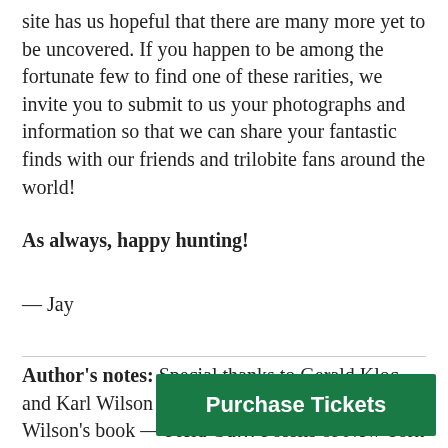site has us hopeful that there are many more yet to be uncovered. If you happen to be among the fortunate few to find one of these rarities, we invite you to submit to us your photographs and information so that we can share your fantastic finds with our friends and trilobite fans around the world!
As always, happy hunting!
— Jay
Author's notes: Special thanks to Gerald Kloc and Karl Wilson for their assistance! Karl Wilson's book — Field Gui[de to the Fossils of New York — inc[ludes a] listing of these trilobites and many other Penn Dixie fossils. The book is available for $18
[Figure (other): Green 'Purchase Tickets' button overlay]